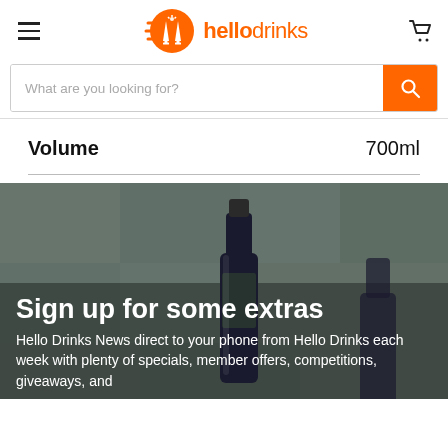hellodrinks
What are you looking for?
| Volume | 700ml |
| --- | --- |
[Figure (photo): Dark wine bottle against blurred background with tiled wall]
Sign up for some extras
Hello Drinks News direct to your phone from Hello Drinks each week with plenty of specials, member offers, competitions, giveaways, and